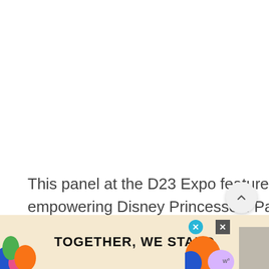[Figure (photo): Large white blank area at the top portion of the page, representing an image or empty content area above the text.]
This panel at the D23 Expo featured the voice actors of 4 popular and empowering Disney Princesses: Paige O'Hara (Belle), Jodi Benson (Ariel), Anika Noni Rose (Tiana), and Auli'i Cravalho (Moana). They all spoke first hand about what it w...
[Figure (infographic): Advertisement banner at the bottom of the page with colorful decorative shapes on left and right sides, text reading TOGETHER, WE STAND in large bold uppercase letters, with close/X buttons and a weather icon on the right side.]